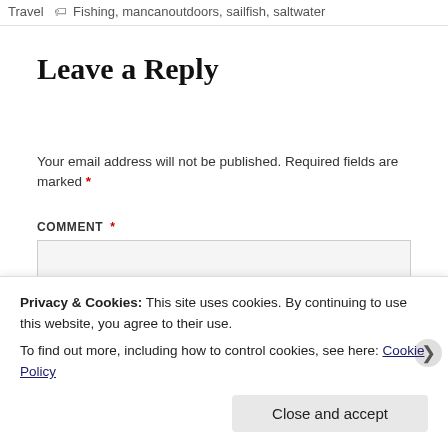Travel  🏷 Fishing, mancanoutdoors, sailfish, saltwater
Leave a Reply
Your email address will not be published. Required fields are marked *
COMMENT *
Privacy & Cookies: This site uses cookies. By continuing to use this website, you agree to their use.
To find out more, including how to control cookies, see here: Cookie Policy
Close and accept